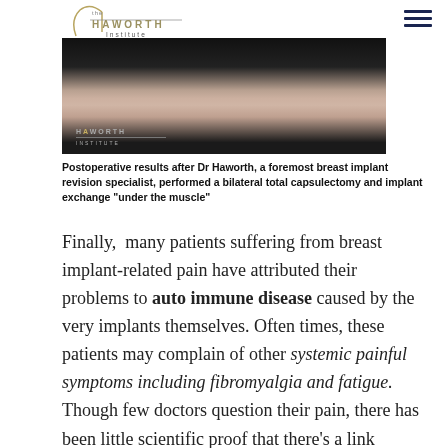[Figure (logo): The Haworth Institute logo with circular arc design and text 'the HAWORTH Institute']
[Figure (photo): Medical postoperative photo showing a patient's chest area, black background, with Haworth Institute watermark overlay]
Postoperative results after Dr Haworth, a foremost breast implant revision specialist, performed a bilateral total capsulectomy and implant exchange "under the muscle"
Finally, many patients suffering from breast implant-related pain have attributed their problems to auto immune disease caused by the very implants themselves. Often times, these patients may complain of other systemic painful symptoms including fibromyalgia and fatigue. Though few doctors question their pain, there has been little scientific proof that there's a link between painful auto immune disease and fibromyalgia and